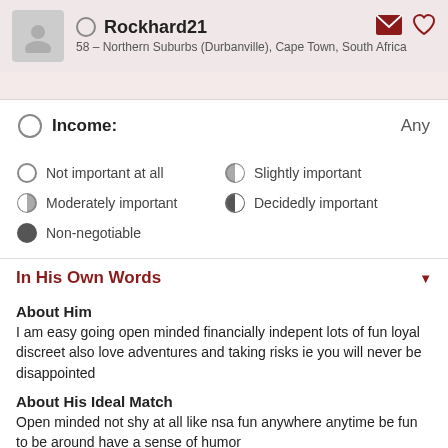Rockhard21 — 58 – Northern Suburbs (Durbanville), Cape Town, South Africa
Income: Any
Not important at all
Slightly important
Moderately important
Decidedly important
Non-negotiable
In His Own Words
About Him
I am easy going open minded financially indepent lots of fun loyal discreet also love adventures and taking risks ie you will never be disappointed
About His Ideal Match
Open minded not shy at all like nsa fun anywhere anytime be fun to be around have a sense of humor